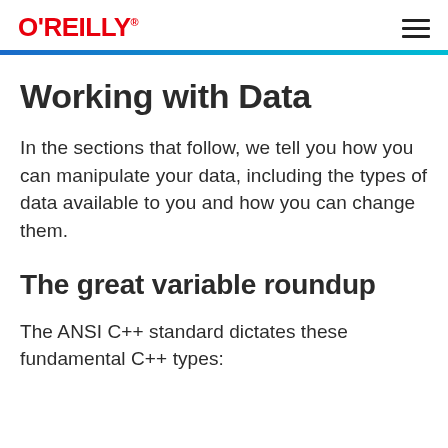O'REILLY
Working with Data
In the sections that follow, we tell you how you can manipulate your data, including the types of data available to you and how you can change them.
The great variable roundup
The ANSI C++ standard dictates these fundamental C++ types: